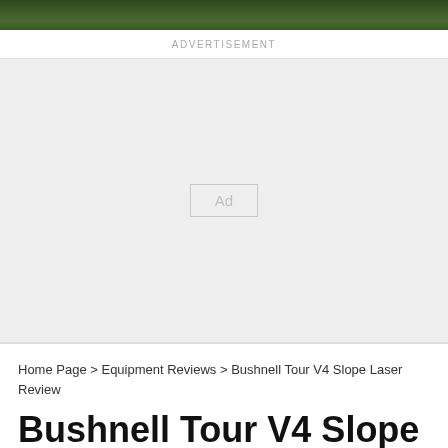[Figure (photo): Dark green foliage/nature banner image at the top of the page]
ADVERTISEMENT
[Figure (other): Advertisement placeholder block with 'Ad' label in center]
Home Page > Equipment Reviews > Bushnell Tour V4 Slope Laser Review
Bushnell Tour V4 Slope Laser Review